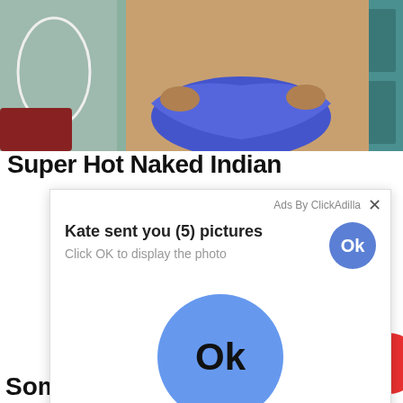[Figure (photo): Cropped photo of a person in blue bikini bottom, hands pulling at the fabric, teal door and other elements in background]
Super Hot Naked Indian
[Figure (screenshot): Ad popup overlay: 'Ads By ClickAdilla' header with X close button, text 'Kate sent you (5) pictures', subtext 'Click OK to display the photo', small blue circular Ok button top right, large blue circular Ok button in center of popup, 'cqo' text in bottom right corner of popup]
Some of these sexy nude